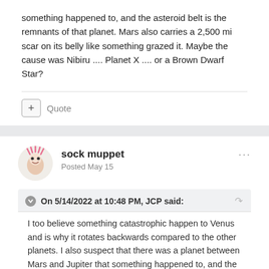something happened to, and the asteroid belt is the remnants of that planet. Mars also carries a 2,500 mi scar on its belly like something grazed it. Maybe the cause was Nibiru .... Planet X .... or a Brown Dwarf Star?
+ Quote
sock muppet
Posted May 15
On 5/14/2022 at 10:48 PM, JCP said:
I too believe something catastrophic happen to Venus and is why it rotates backwards compared to the other planets. I also suspect that there was a planet between Mars and Jupiter that something happened to, and the asteroid belt is the remnants of that planet. Mars also carries a 2,500 mi